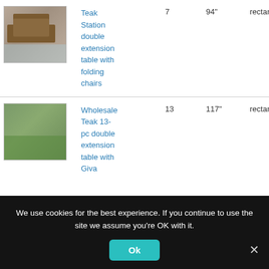[Figure (photo): Outdoor teak dining set with extension table and folding chairs on patio near pool]
Teak Station double extension table with folding chairs
7
94"
rectan...
[Figure (photo): Large outdoor teak 13-piece dining set with double extension table and Giva chairs on lawn]
Wholesale Teak 13-pc double extension table with Giva
13
117"
rectan...
We use cookies for the best experience. If you continue to use the site we assume you're OK with it.